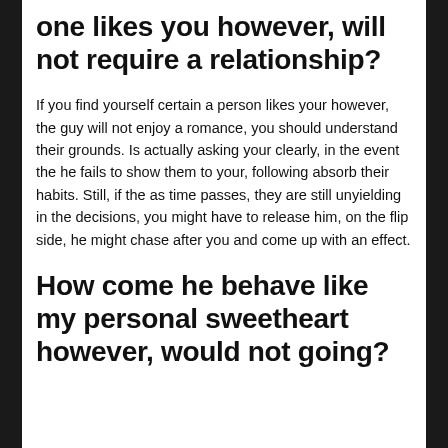one likes you however, will not require a relationship?
If you find yourself certain a person likes your however, the guy will not enjoy a romance, you should understand their grounds. Is actually asking your clearly, in the event the he fails to show them to your, following absorb their habits. Still, if the as time passes, they are still unyielding in the decisions, you might have to release him, on the flip side, he might chase after you and come up with an effect.
How come he behave like my personal sweetheart however, would not going?